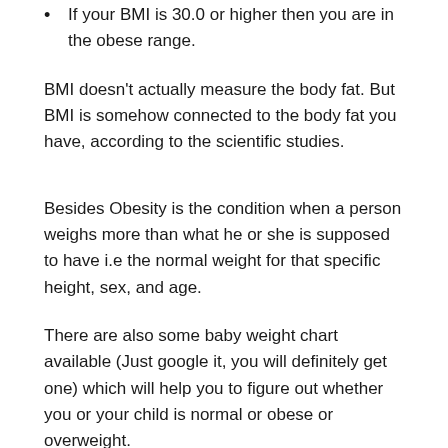If your BMI is 30.0 or higher then you are in the obese range.
BMI doesn't actually measure the body fat. But BMI is somehow connected to the body fat you have, according to the scientific studies.
Besides Obesity is the condition when a person weighs more than what he or she is supposed to have i.e the normal weight for that specific height, sex, and age.
There are also some baby weight chart available (Just google it, you will definitely get one) which will help you to figure out whether you or your child is normal or obese or overweight.